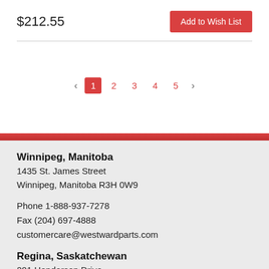$212.55
Add to Wish List
‹ 1 2 3 4 5 ›
Winnipeg, Manitoba
1435 St. James Street
Winnipeg, Manitoba R3H 0W9
Phone 1-888-937-7278
Fax (204) 697-4888
customercare@westwardparts.com
Regina, Saskatchewan
201 Henderson Drive
Regina, Saskatchewan S4N 7S8